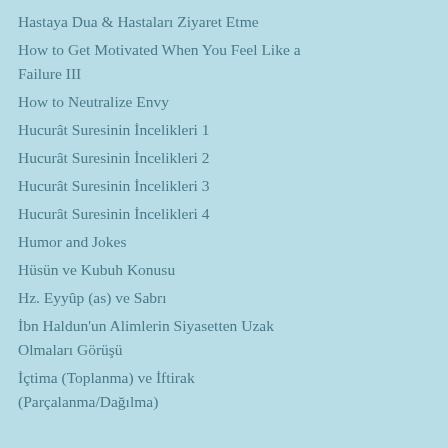Hastaya Dua & Hastaları Ziyaret Etme
How to Get Motivated When You Feel Like a Failure III
How to Neutralize Envy
Hucurât Suresinin İncelikleri 1
Hucurât Suresinin İncelikleri 2
Hucurât Suresinin İncelikleri 3
Hucurât Suresinin İncelikleri 4
Humor and Jokes
Hüsün ve Kubuh Konusu
Hz. Eyyûp (as) ve Sabrı
İbn Haldun'un Alimlerin Siyasetten Uzak Olmaları Görüşü
İçtima (Toplanma) ve İftirak (Parçalanma/Dağılma)